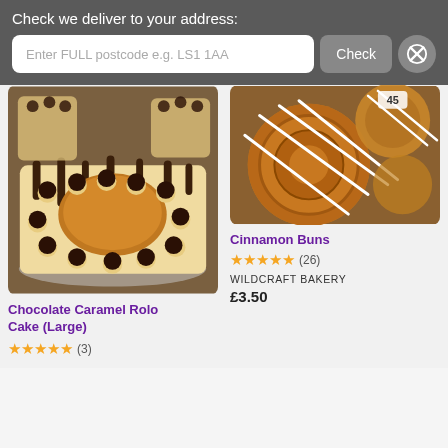Check we deliver to your address:
Enter FULL postcode e.g. LS1 1AA
Check
[Figure (photo): Photo of a Chocolate Caramel Rolo Cake (Large) decorated with chocolate drizzle, caramel filling, and chocolate ball decorations]
Chocolate Caramel Rolo Cake (Large)
★★★★★ (3)
[Figure (photo): Photo of Cinnamon Buns with white icing drizzle on top]
Cinnamon Buns
★★★★★ (26)
WILDCRAFT BAKERY
£3.50